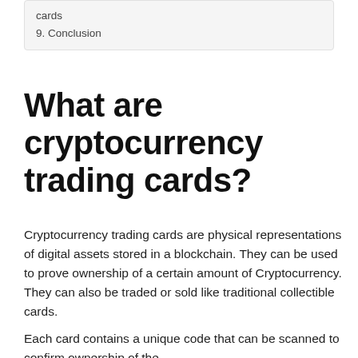cards
9. Conclusion
What are cryptocurrency trading cards?
Cryptocurrency trading cards are physical representations of digital assets stored in a blockchain. They can be used to prove ownership of a certain amount of Cryptocurrency. They can also be traded or sold like traditional collectible cards.
Each card contains a unique code that can be scanned to confirm ownership of the